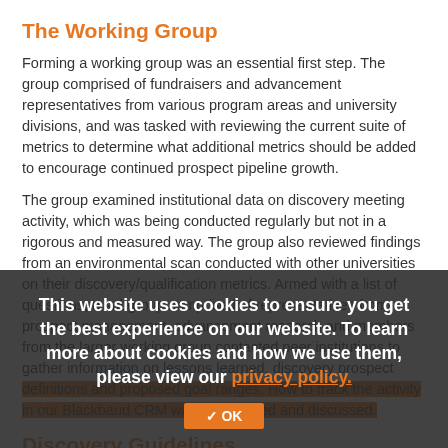The Working Group
Forming a working group was an essential first step. The group comprised of fundraisers and advancement representatives from various program areas and university divisions, and was tasked with reviewing the current suite of metrics to determine what additional metrics should be added to encourage continued prospect pipeline growth.
The group examined institutional data on discovery meeting activity, which was being conducted regularly but not in a rigorous and measured way. The group also reviewed findings from an environmental scan conducted with other universities on their discovery/qualification metrics. Armed with a list of questions, a subgroup comprised of representatives from prospect management, advancement research and members from the larger working group contacted peer institutions to gather information on lessons learned, discovery prospect definitions and proposed goal ranges. How to track the activity in our Blackbaud CRM was also shared and discussed.
This website uses cookies to ensure you get the best experience on our website. To learn more about cookies and how we use them, please view our privacy policy.
Discovery Guidelines